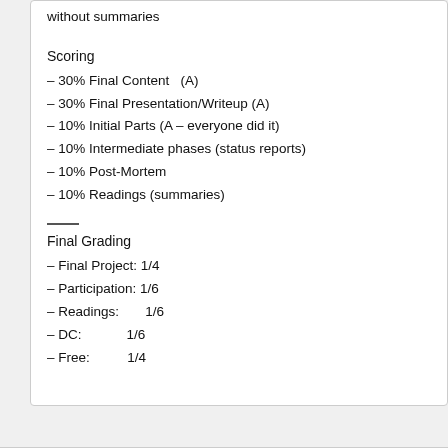without summaries
Scoring
– 30% Final Content  (A)
– 30% Final Presentation/Writeup (A)
– 10% Initial Parts (A – everyone did it)
– 10% Intermediate phases (status reports)
– 10% Post-Mortem
– 10% Readings (summaries)
Final Grading
– Final Project: 1/4
– Participation: 1/6
– Readings:       1/6
– DC:             1/6
– Free:           1/4